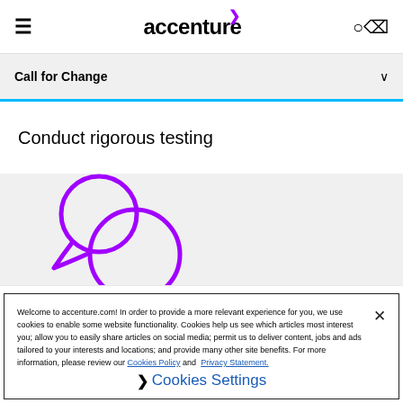accenture navigation bar with hamburger menu and search icon
Call for Change
Conduct rigorous testing
[Figure (illustration): Two overlapping speech/chat bubble icons in purple/violet color on a gray background]
Welcome to accenture.com! In order to provide a more relevant experience for you, we use cookies to enable some website functionality. Cookies help us see which articles most interest you; allow you to easily share articles on social media; permit us to deliver content, jobs and ads tailored to your interests and locations; and provide many other site benefits. For more information, please review our Cookies Policy and Privacy Statement.
❯ Cookies Settings